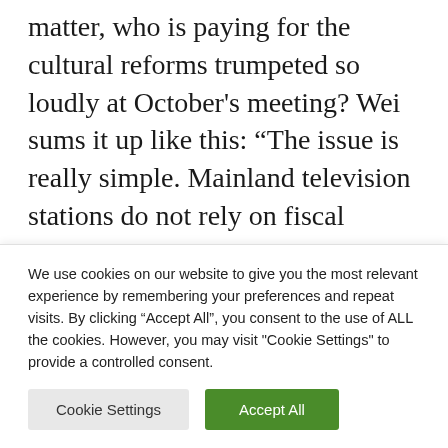matter, who is paying for the cultural reforms trumpeted so loudly at October's meeting? Wei sums it up like this: “The issue is really simple. Mainland television stations do not rely on fiscal appropriations to survive, and so they must be permitted to go and find sustenance in the marketplace.” It’s entirely unreasonable, he suggests, to expect profit-driven television
We use cookies on our website to give you the most relevant experience by remembering your preferences and repeat visits. By clicking “Accept All”, you consent to the use of ALL the cookies. However, you may visit "Cookie Settings" to provide a controlled consent.
Cookie Settings | Accept All